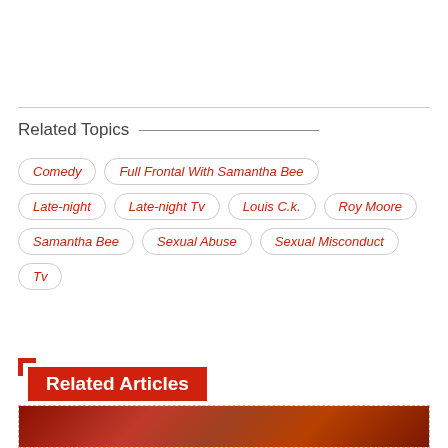Related Topics
Comedy
Full Frontal With Samantha Bee
Late-night
Late-night Tv
Louis C.k.
Roy Moore
Samantha Bee
Sexual Abuse
Sexual Misconduct
Tv
Related Articles
[Figure (photo): Thumbnail image with red/orange tones, partially visible at bottom of page]